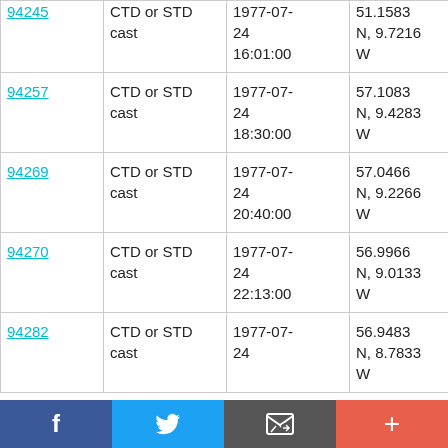| ID | Type | Date/Time | Location | Cruise |
| --- | --- | --- | --- | --- |
| 94245 | CTD or STD cast | 1977-07-24 16:01:00 | 51.1583 N, 9.7216 W | RRS Challenger CH11/77 |
| 94257 | CTD or STD cast | 1977-07-24 18:30:00 | 57.1083 N, 9.4283 W | RRS Challenger CH11/77 |
| 94269 | CTD or STD cast | 1977-07-24 20:40:00 | 57.0466 N, 9.2266 W | RRS Challenger CH11/77 |
| 94270 | CTD or STD cast | 1977-07-24 22:13:00 | 56.9966 N, 9.0133 W | RRS Challenger CH11/77 |
| 94282 | CTD or STD cast | 1977-07-24 | 56.9483 N, 8.7833 W | RRS Challenger |